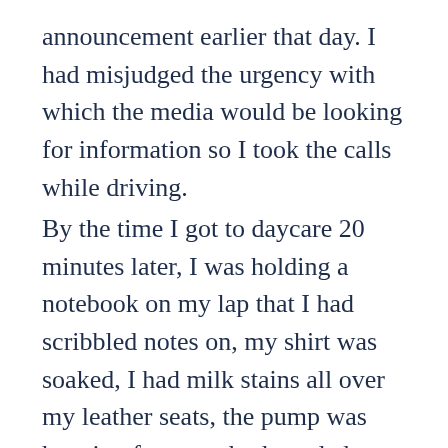announcement earlier that day. I had misjudged the urgency with which the media would be looking for information so I took the calls while driving.
By the time I got to daycare 20 minutes later, I was holding a notebook on my lap that I had scribbled notes on, my shirt was soaked, I had milk stains all over my leather seats, the pump was hanging from my body and almost no milk had made it into the bottles - in part because it was everywhere else - and in part because I hadn't been able